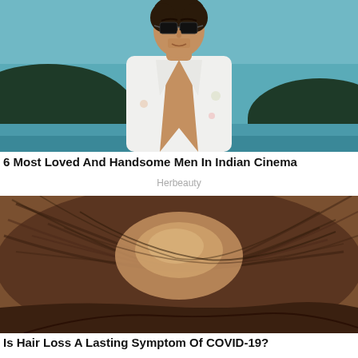[Figure (photo): A handsome man wearing sunglasses and a white open-chest shirt, standing in front of a coastal/beach scenery with dark mountains and teal water in the background.]
6 Most Loved And Handsome Men In Indian Cinema
Herbeauty
[Figure (photo): A close-up top-down view of a person's head showing hair thinning and hair loss, with a visible scalp parting area surrounded by brown hair.]
Is Hair Loss A Lasting Symptom Of COVID-19?